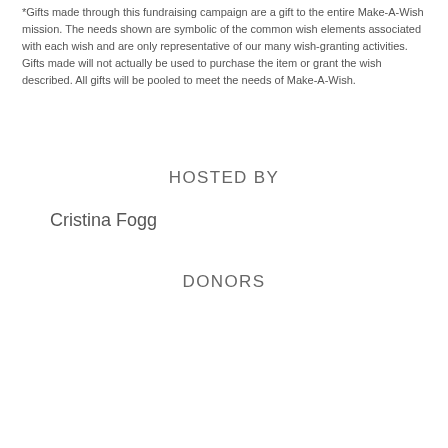*Gifts made through this fundraising campaign are a gift to the entire Make-A-Wish mission. The needs shown are symbolic of the common wish elements associated with each wish and are only representative of our many wish-granting activities. Gifts made will not actually be used to purchase the item or grant the wish described. All gifts will be pooled to meet the needs of Make-A-Wish.
HOSTED BY
Cristina Fogg
DONORS